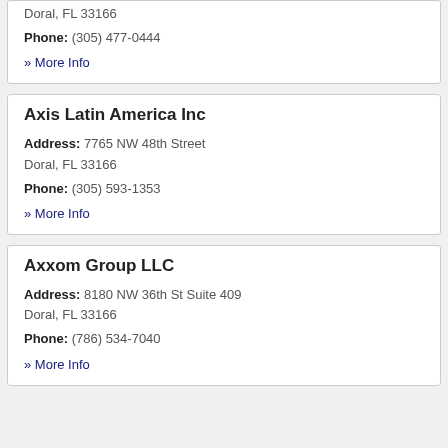Doral, FL 33166
Phone: (305) 477-0444
» More Info
Axis Latin America Inc
Address: 7765 NW 48th Street
Doral, FL 33166
Phone: (305) 593-1353
» More Info
Axxom Group LLC
Address: 8180 NW 36th St Suite 409
Doral, FL 33166
Phone: (786) 534-7040
» More Info